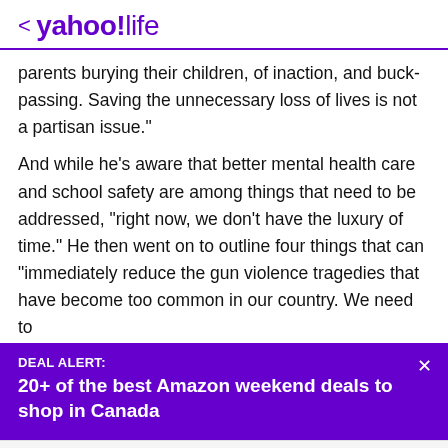< yahoo!life
parents burying their children, of inaction, and buck-passing. Saving the unnecessary loss of lives is not a partisan issue."
And while he's aware that better mental health care and school safety are among things that need to be addressed, "right now, we don't have the luxury of time." He then went on to outline four things that can "immediately reduce the gun violence tragedies that have become too common in our country. We need to
DEAL ALERT:
20+ of the best Amazon weekend deals to shop in Canada
View comments